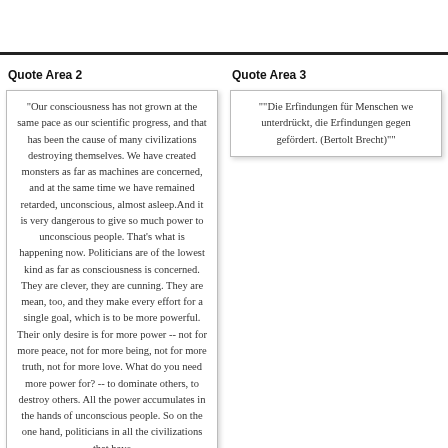Quote Area 2
"Our consciousness has not grown at the same pace as our scientific progress, and that has been the cause of many civilizations destroying themselves. We have created monsters as far as machines are concerned, and at the same time we have remained retarded, unconscious, almost asleep.And it is very dangerous to give so much power to unconscious people. That's what is happening now. Politicians are of the lowest kind as far as consciousness is concerned. They are clever, they are cunning. They are mean, too, and they make every effort for a single goal, which is to be more powerful. Their only desire is for more power -- not for more peace, not for more being, not for more truth, not for more love. What do you need more power for? -- to dominate others, to destroy others. All the power accumulates in the hands of unconscious people. So on the one hand, politicians in all the civilizations that have
Quote Area 3
""Die Erfindungen für Menschen we unterdrückt, die Erfindungen gegen gefördert. (Bertolt Brecht)""